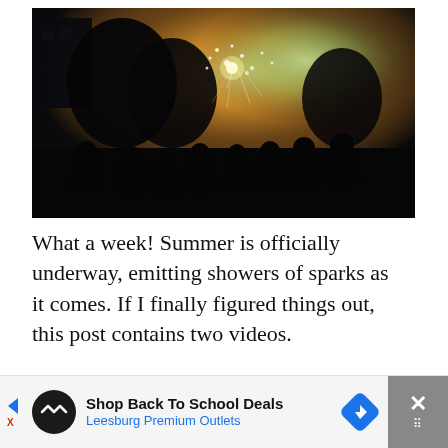[Figure (photo): Night photo of a group of silhouetted people watching fireworks in a backyard. Bright sparkling fireworks illuminate the sky in orange, yellow, and green hues behind trees and a white building.]
What a week! Summer is officially underway, emitting showers of sparks as it comes. If I finally figured things out, this post contains two videos.
[Figure (other): Advertisement banner: Shop Back To School Deals - Leesburg Premium Outlets, with navigation arrows and close button.]